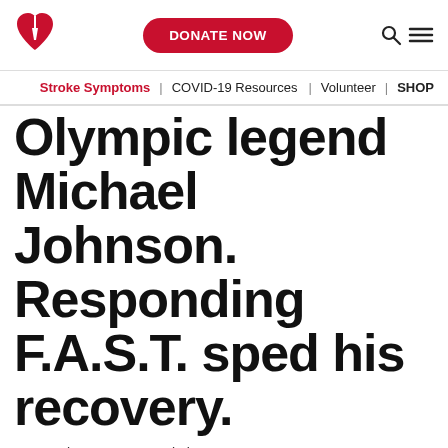DONATE NOW
Stroke Symptoms | COVID-19 Resources | Volunteer | SHOP
Olympic legend Michael Johnson. Responding F.A.S.T. sped his recovery.
By American Heart Association News